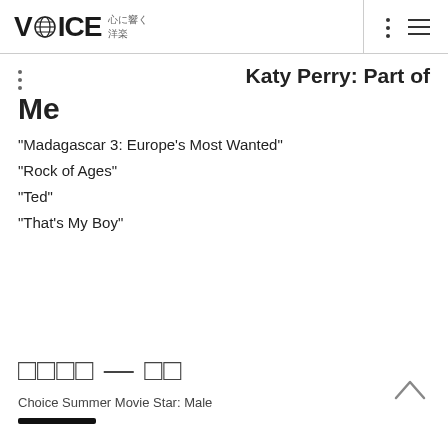VOICE 心に響く洋楽
Katy Perry: Part of Me
“Madagascar 3: Europe’s Most Wanted”
“Rock of Ages”
“Ted”
“That’s My Boy”
□□□□ — □□
Choice Summer Movie Star: Male